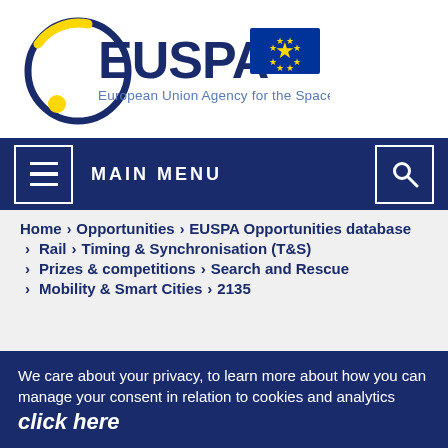[Figure (logo): EUSPA logo — European Union Agency for the Space Programme with EU flag]
[Figure (screenshot): Navigation bar with hamburger menu icon, MAIN MENU text, and search icon, on dark blue background]
Home > Opportunities > EUSPA Opportunities database
> Rail > Timing & Synchronisation (T&S)
> Prizes & competitions > Search and Rescue
> Mobility & Smart Cities > 2135
We care about your privacy, to learn more about how you can manage your consent in relation to cookies and analytics click here